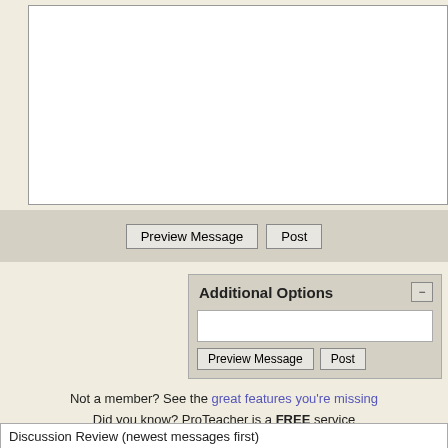[Figure (screenshot): White textarea input box for composing a message, partially visible at the top of the page]
Preview Message   Post
Additional Options
Preview Message   Post
Not a member? See the great features you're missing
Did you know? ProTeacher is a FREE service
| Discussion Review (newest messages first) |  |
| --- | --- |
| missamberlori | 04-08-2019 06:02 PM |